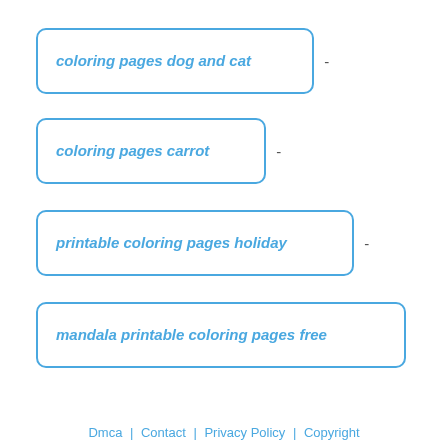coloring pages dog and cat -
coloring pages carrot -
printable coloring pages holiday -
mandala printable coloring pages free
Dmca | Contact | Privacy Policy | Copyright